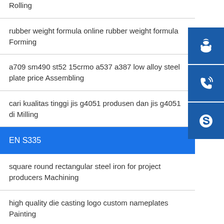Rolling
rubber weight formula online rubber weight formula Forming
a709 sm490 st52 15crmo a537 a387 low alloy steel plate price Assembling
cari kualitas tinggi jis g4051 produsen dan jis g4051 di Milling
EN S335
square round rectangular steel iron for project producers Machining
high quality die casting logo custom nameplates Painting